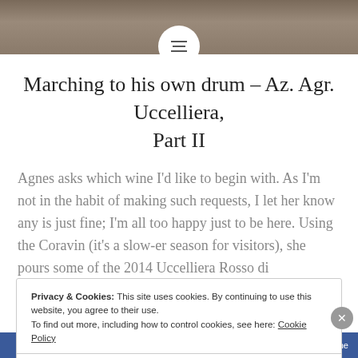[Figure (photo): Top image strip showing blurred background, dark brownish/beige tones, with a circular white menu icon overlay in the center]
Marching to his own drum – Az. Agr. Uccelliera, Part II
Agnes asks which wine I'd like to begin with. As I'm not in the habit of making such requests, I let her know any is just fine; I'm all too happy just to be here. Using the Coravin (it's a slow-er season for visitors), she pours some of the 2014 Uccelliera Rosso di Montalcino. I spend…
Privacy & Cookies: This site uses cookies. By continuing to use this website, you agree to their use.
To find out more, including how to control cookies, see here: Cookie Policy
Close and accept